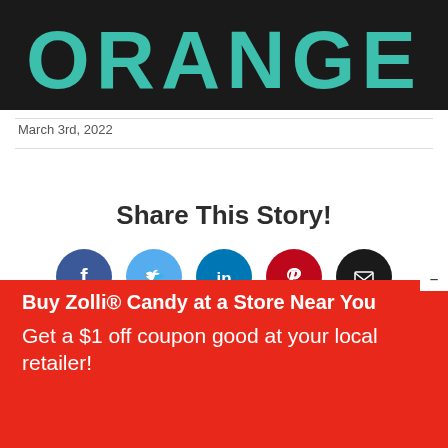[Figure (logo): Teal bold text 'ORANGE' on black background banner]
March 3rd, 2022
Share This Story!
[Figure (infographic): Row of five social media share buttons: Facebook (dark blue circle), Twitter (light blue circle), LinkedIn (teal circle), Pinterest (dark red circle), Email (black circle)]
Buy Zolli® Candy at a Store Near You
Get a $1 off coupon good at your local retailer!